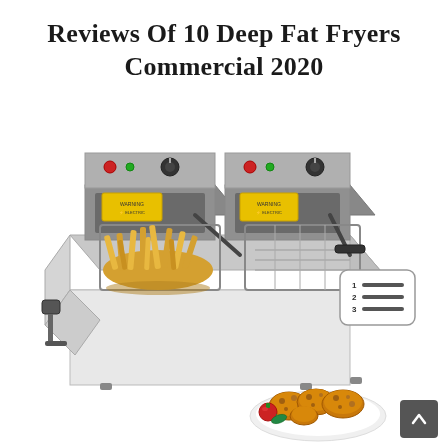Reviews Of 10 Deep Fat Fryers Commercial 2020
[Figure (photo): A stainless steel commercial dual-basket deep fat fryer with one basket filled with french fries, control knobs and indicator lights visible on the back panel, and a yellow warning label.]
[Figure (photo): A plate of fried chicken pieces with a tomato garnish and herbs on a white plate.]